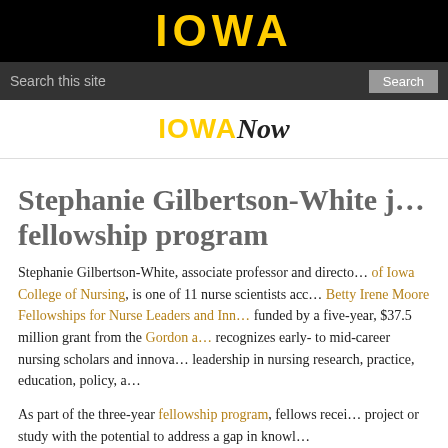IOWA
Search this site  Search
IOWANow
Stephanie Gilbertson-White j… fellowship program
Stephanie Gilbertson-White, associate professor and directo… of Iowa College of Nursing, is one of 11 nurse scientists acc… Betty Irene Moore Fellowships for Nurse Leaders and Inn… funded by a five-year, $37.5 million grant from the Gordon a… recognizes early- to mid-career nursing scholars and innova… leadership in nursing research, practice, education, policy, a…
As part of the three-year fellowship program, fellows recei… project or study with the potential to address a gap in knowl…